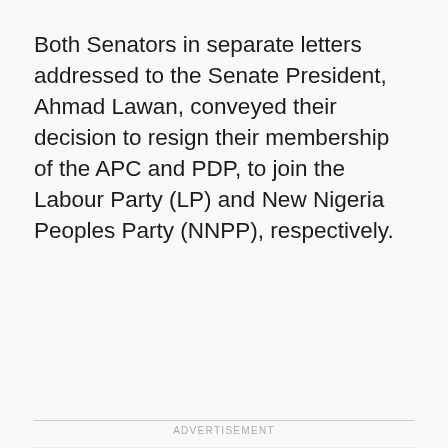Both Senators in separate letters addressed to the Senate President, Ahmad Lawan, conveyed their decision to resign their membership of the APC and PDP, to join the Labour Party (LP) and New Nigeria Peoples Party (NNPP), respectively.
ADVERTISEMENT
[Figure (other): Advertisement placeholder box with light gray background]